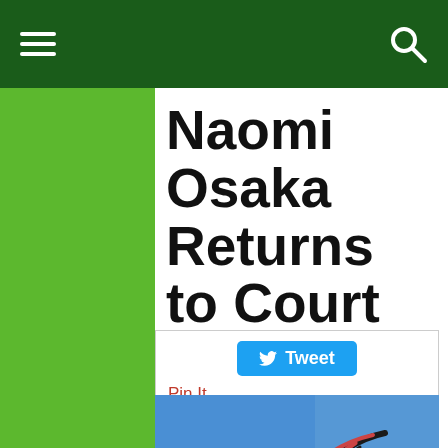Naomi Osaka Returns to Court With Win
Tweet  Pin It
[Figure (photo): Naomi Osaka serving on a tennis court at the Olympics, wearing a red outfit and red cap, with her hair flying, Olympic rings visible in the background]